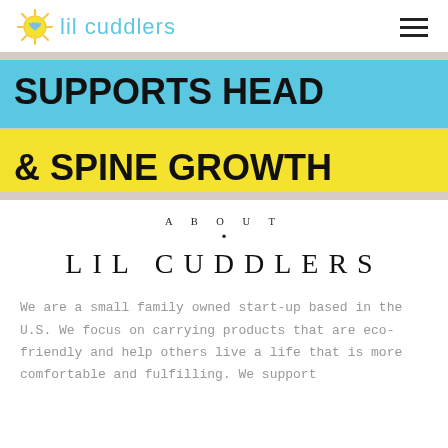lil cuddlers
[Figure (photo): Hero banner image showing bold text 'SUPPORTS HEAD & SPINE GROWTH' on blue and yellow background strips over a light background.]
ABOUT
•
LIL CUDDLERS
We are a small family owned start-up based in the U.S. We focus on carrying products that are eco-friendly and help others live a life that is more comfortable and fulfilling. We support